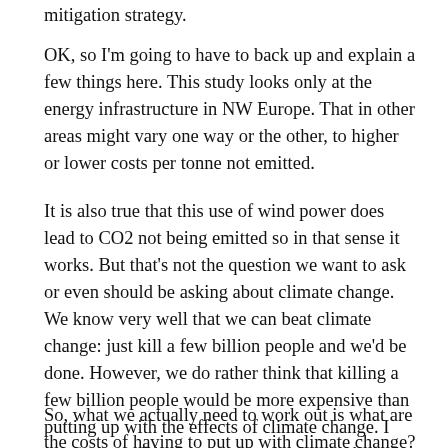mitigation strategy.
OK, so I'm going to have to back up and explain a few things here. This study looks only at the energy infrastructure in NW Europe. That in other areas might vary one way or the other, to higher or lower costs per tonne not emitted.
It is also true that this use of wind power does lead to CO2 not being emitted so in that sense it works. But that's not the question we want to ask or even should be asking about climate change. We know very well that we can beat climate change: just kill a few billion people and we'd be done. However, we do rather think that killing a few billion people would be more expensive than putting up with the effects of climate change. I use “expense” here to mean reduction in the ability of humans to enjoys this world’s glories. Lots of dead people would indeed reduce the ability of lots of people to enjoy said glories.
So, what we actually need to work out is what are the costs of having to put up with climate change? The things